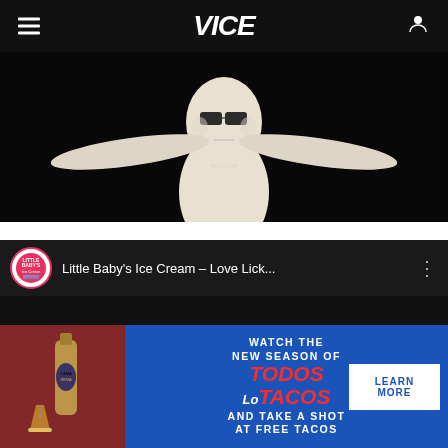VICE
[Figure (photo): A pale clay or ice cream figure of a human torso and head wearing dark sunglasses, arms outstretched, against a black background]
[Figure (screenshot): YouTube embed showing Little Baby's Ice Cream channel — video titled 'Little Baby's Ice Cream -- Love Lick...' with YouTube play button overlay on black background]
[Figure (infographic): Advertisement banner: Camarena tequila bottle with cocktail on left, blue background on right with text 'WATCH THE NEW SEASON OF TODOS Los TACOS AND TAKE A SHOT AT FREE TACOS' and 'LEARN MORE' button]